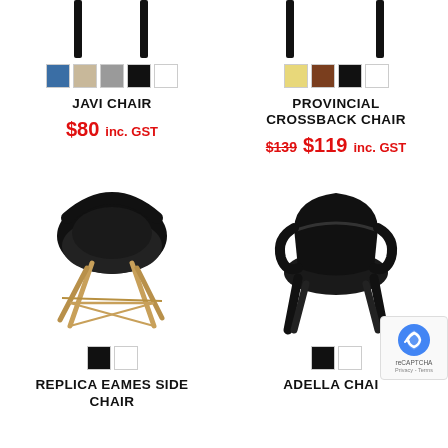[Figure (photo): Partial view of Javi Chair legs from top of page]
[Figure (photo): Color swatches for Javi Chair: blue, beige, grey, black, white]
JAVI CHAIR
$80 inc. GST
[Figure (photo): Partial view of Provincial Crossback Chair legs from top of page]
[Figure (photo): Color swatches for Provincial Crossback Chair: yellow, brown, black, white]
PROVINCIAL CROSSBACK CHAIR
$139  $119 inc. GST
[Figure (photo): Replica Eames Side Chair — black shell with wooden Eiffel legs]
[Figure (photo): Color swatches for Replica Eames Side Chair: black, white]
REPLICA EAMES SIDE CHAIR
[Figure (photo): Adella Chair — all black plastic armchair]
[Figure (photo): Color swatches for Adella Chair: black, white]
ADELLA CHAIR